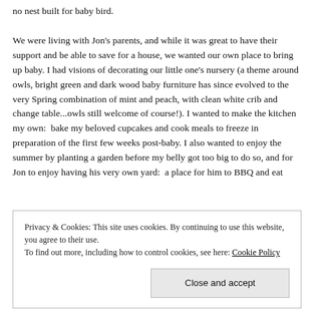no nest built for baby bird.
We were living with Jon's parents, and while it was great to have their support and be able to save for a house, we wanted our own place to bring up baby. I had visions of decorating our little one's nursery (a theme around owls, bright green and dark wood baby furniture has since evolved to the very Spring combination of mint and peach, with clean white crib and change table...owls still welcome of course!). I wanted to make the kitchen my own:  bake my beloved cupcakes and cook meals to freeze in preparation of the first few weeks post-baby. I also wanted to enjoy the summer by planting a garden before my belly got too big to do so, and for Jon to enjoy having his very own yard:  a place for him to BBQ and eat
Privacy & Cookies: This site uses cookies. By continuing to use this website, you agree to their use.
To find out more, including how to control cookies, see here: Cookie Policy
Close and accept